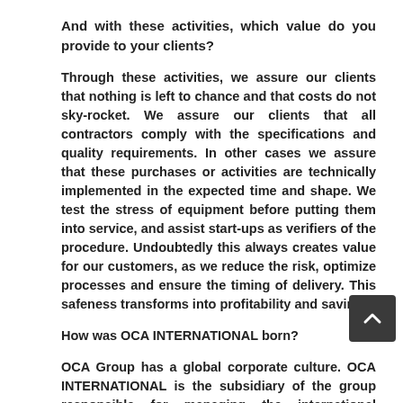And with these activities, which value do you provide to your clients?
Through these activities, we assure our clients that nothing is left to chance and that costs do not sky-rocket. We assure our clients that all contractors comply with the specifications and quality requirements. In other cases we assure that these purchases or activities are technically implemented in the expected time and shape. We test the stress of equipment before putting them into service, and assist start-ups as verifiers of the procedure. Undoubtedly this always creates value for our customers, as we reduce the risk, optimize processes and ensure the timing of delivery. This safeness transforms into profitability and savings.
How was OCA INTERNATIONAL born?
OCA Group has a global corporate culture. OCA INTERNATIONAL is the subsidiary of the group responsible for managing the international business. OCA Group is a Spanish group, a leader in the testing, inspection and